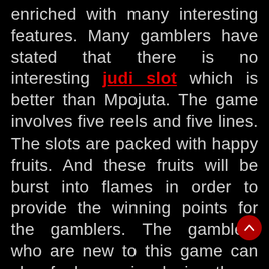enriched with many interesting features. Many gamblers have stated that there is no interesting judi slot which is better than Mpojuta. The game involves five reels and five lines. The slots are packed with happy fruits. And these fruits will be burst into flames in order to provide the winning points for the gamblers. The gamblers who are new to this game can also feel easy in playing them. To remain on the safer side, they can read the reviews to understand the slot machine in better. This will help them to get rid of the risks and will